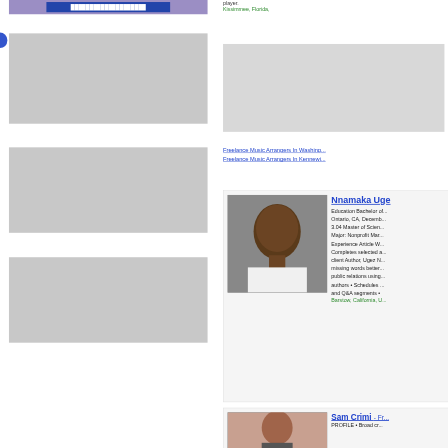[Figure (other): Purple/violet banner with dark blue button]
[Figure (other): Blue navigation arrow/circle on left side]
[Figure (other): Gray placeholder advertisement box 1]
[Figure (other): Gray placeholder advertisement box 2]
[Figure (other): Gray placeholder advertisement box 3]
player.
Kissimmee, Florida,
[Figure (other): Gray advertisement placeholder box on right column]
Freelance Music Arrangers In Washing...
Freelance Music Arrangers In Kennewi...
[Figure (photo): Professional headshot photo of Nnamaka Uge, African-American male in white shirt]
Nnamaka Uge
Education Bachelor of... Ontario, CA, Decemb... 3.04 Master of Scien... Major: Nonprofit Mar... Experience Article W... Completes selected a... client Author, Ugez N... missing words better... public relations using... authors • Schedules ... and Q&A segments •
Barstow, California, U...
[Figure (photo): Professional headshot photo of Sam Crimi]
Sam Crimi - Fr...
PROFILE • Broad cr...